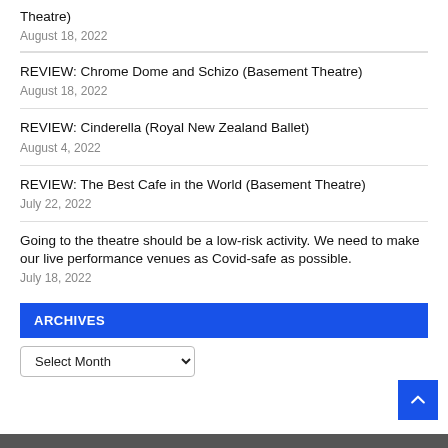Theatre)
August 18, 2022
REVIEW: Chrome Dome and Schizo (Basement Theatre)
August 18, 2022
REVIEW: Cinderella (Royal New Zealand Ballet)
August 4, 2022
REVIEW: The Best Cafe in the World (Basement Theatre)
July 22, 2022
Going to the theatre should be a low-risk activity. We need to make our live performance venues as Covid-safe as possible.
July 18, 2022
ARCHIVES
Select Month